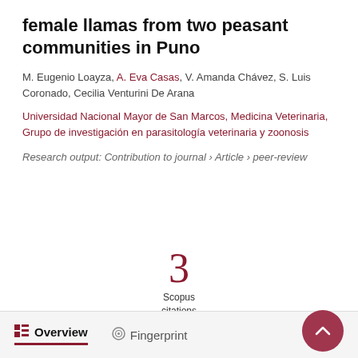female llamas from two peasant communities in Puno
M. Eugenio Loayza, A. Eva Casas, V. Amanda Chávez, S. Luis Coronado, Cecilia Venturini De Arana
Universidad Nacional Mayor de San Marcos, Medicina Veterinaria, Grupo de investigación en parasitología veterinaria y zoonosis
Research output: Contribution to journal › Article › peer-review
[Figure (infographic): Scopus citations badge showing the number 3 in large dark red font with 'Scopus citations' label below]
Overview   Fingerprint